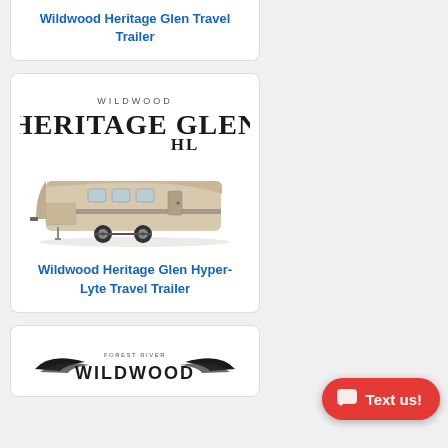Wildwood Heritage Glen Travel Trailer
[Figure (illustration): Wildwood Heritage Glen HL product card with logo text and travel trailer image]
Wildwood Heritage Glen Hyper-Lyte Travel Trailer
[Figure (logo): Wildwood logo with eagle wings and Forest River text at the bottom]
[Figure (other): Red rounded rectangle button with chat bubble icon and 'Text us!' label]